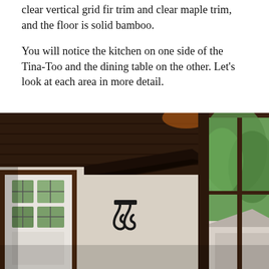clear vertical grid fir trim and clear maple trim, and the floor is solid bamboo.
You will notice the kitchen on one side of the Tina-Too and the dining table on the other. Let's look at each area in more detail.
[Figure (photo): Interior photo of a tiny house showing a dark wood-paneled ceiling with exposed beams and corbels, a white door with glass panels on the left, a large sliding glass door/window with dark wood frame on the right showing trees and a house outside, and metal coat hooks on a white wall in the center.]